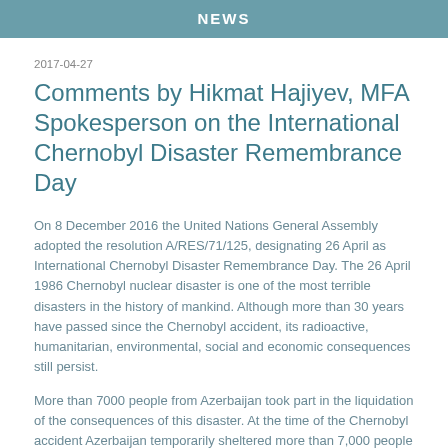NEWS
2017-04-27
Comments by Hikmat Hajiyev, MFA Spokesperson on the International Chernobyl Disaster Remembrance Day
On 8 December 2016 the United Nations General Assembly adopted the resolution A/RES/71/125, designating 26 April as International Chernobyl Disaster Remembrance Day. The 26 April 1986 Chernobyl nuclear disaster is one of the most terrible disasters in the history of mankind. Although more than 30 years have passed since the Chernobyl accident, its radioactive, humanitarian, environmental, social and economic consequences still persist.
More than 7000 people from Azerbaijan took part in the liquidation of the consequences of this disaster. At the time of the Chernobyl accident Azerbaijan temporarily sheltered more than 7,000 people who suffered in the accident and provided support, rehabilitation